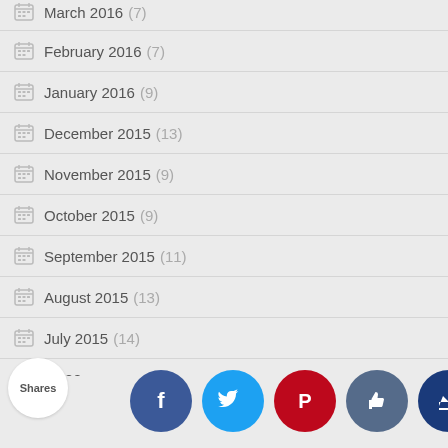March 2016 (7)
February 2016 (7)
January 2016 (9)
December 2015 (13)
November 2015 (9)
October 2015 (9)
September 2015 (11)
August 2015 (13)
July 2015 (14)
June 2015
Shares